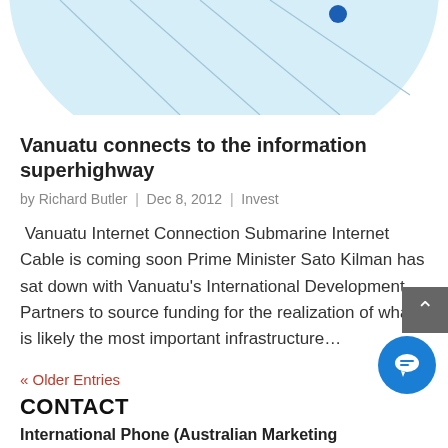[Figure (illustration): Partial view of a light blue map/globe illustration with grey lines and a blue marker pin, cropped at the top of the page.]
Vanuatu connects to the information superhighway
by Richard Butler | Dec 8, 2012 | Invest
Vanuatu Internet Connection Submarine Internet Cable is coming soon Prime Minister Sato Kilman has sat down with Vanuatu's International Development Partners to source funding for the realization of what is likely the most important infrastructure...
« Older Entries
CONTACT
International Phone (Australian Marketing